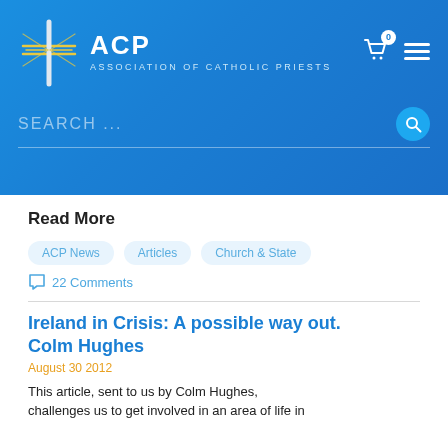[Figure (logo): ACP Association of Catholic Priests header with cross logo, search bar, cart icon and hamburger menu on blue gradient background]
Read More
ACP News
Articles
Church & State
22 Comments
Ireland in Crisis: A possible way out. Colm Hughes
August 30 2012
This article, sent to us by Colm Hughes, challenges us to get involved in an area of life in